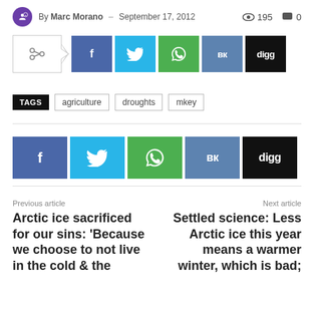By Marc Morano – September 17, 2012   195   0
[Figure (infographic): Social share buttons row: share outline button with arrow, Facebook (f), Twitter (bird), WhatsApp (phone), VK (VK), Digg (digg)]
TAGS   agriculture   droughts   mkey
[Figure (infographic): Social share buttons row (larger): Facebook (f), Twitter (bird), WhatsApp (phone), VK (VK), Digg (digg)]
Previous article
Arctic ice sacrificed for our sins: 'Because we choose to not live in the cold & the
Next article
Settled science: Less Arctic ice this year means a warmer winter, which is bad;